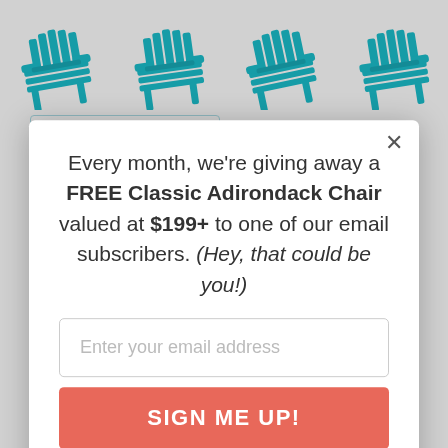[Figure (photo): Four teal/turquoise Adirondack chairs shown partially at the top of the page background]
[Figure (infographic): Quick Ship Colors badge with truck icon in teal color]
CLASSIC ADIRONDACK
CLASSIC ADIRONDACK
Every month, we're giving away a FREE Classic Adirondack Chair valued at $199+ to one of our email subscribers. (Hey, that could be you!)
Enter your email address
SIGN ME UP!
One (1) winner will be selected at random at the end of every month and contacted by email. U.S. entrants only.